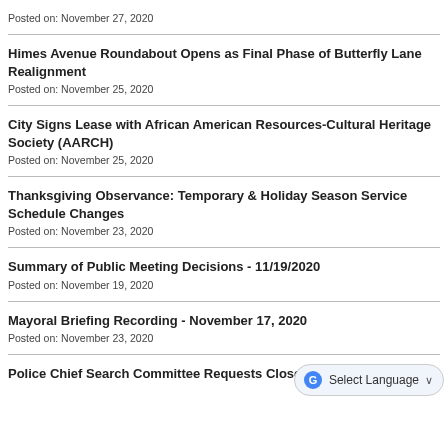Posted on: November 27, 2020
Himes Avenue Roundabout Opens as Final Phase of Butterfly Lane Realignment
Posted on: November 25, 2020
City Signs Lease with African American Resources-Cultural Heritage Society (AARCH)
Posted on: November 25, 2020
Thanksgiving Observance: Temporary & Holiday Season Service Schedule Changes
Posted on: November 23, 2020
Summary of Public Meeting Decisions - 11/19/2020
Posted on: November 19, 2020
Mayoral Briefing Recording - November 17, 2020
Posted on: November 23, 2020
Police Chief Search Committee Requests Closed